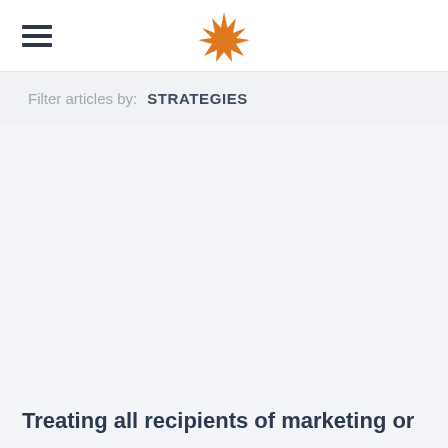[Figure (logo): Orange star-burst/sun logo icon centered in the top navigation bar]
Filter articles by: STRATEGIES
Treating all recipients of marketing or